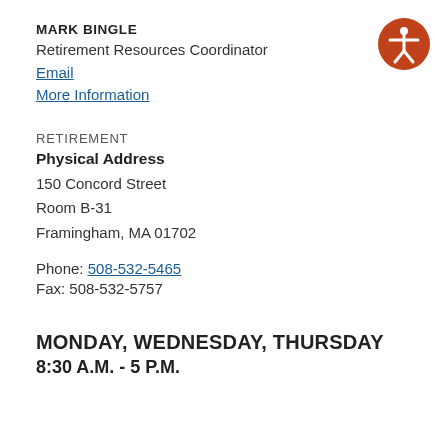MARK BINGLE
Retirement Resources Coordinator
Email
More Information
RETIREMENT
Physical Address
150 Concord Street
Room B-31
Framingham, MA 01702
Phone: 508-532-5465
Fax: 508-532-5757
MONDAY, WEDNESDAY, THURSDAY
8:30 A.M. - 5 P.M.
[Figure (illustration): Orange circle with white accessibility icon (stick figure with arms outstretched)]